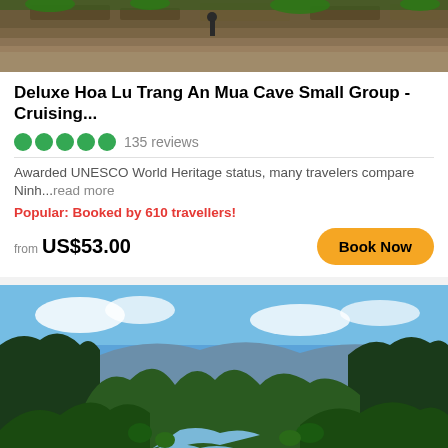[Figure (photo): Aerial/ground view of terraced hillside with stone structures and a person walking, brown/earthy tones]
Deluxe Hoa Lu Trang An Mua Cave Small Group - Cruising...
●●●●● 135 reviews
Awarded UNESCO World Heritage status, many travelers compare Ninh...read more
Popular: Booked by 610 travellers!
from US$53.00
[Figure (photo): Scenic landscape of Ninh Binh Vietnam with karst mountains, river winding through rice paddies and lush green valleys under blue sky]